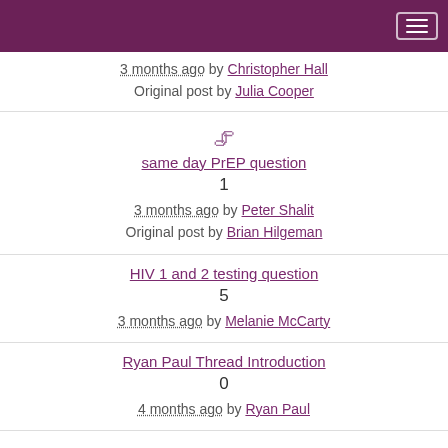3 months ago by Christopher Hall
Original post by Julia Cooper
📎
same day PrEP question
1
3 months ago by Peter Shalit
Original post by Brian Hilgeman
HIV 1 and 2 testing question
5
3 months ago by Melanie McCarty
Ryan Paul Thread Introduction
0
4 months ago by Ryan Paul